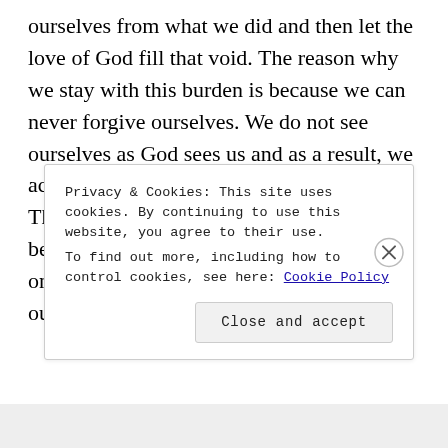ourselves from what we did and then let the love of God fill that void. The reason why we stay with this burden is because we can never forgive ourselves. We do not see ourselves as God sees us and as a result, we accept the guilt and shame of our mistakes. Therefore, it is important to read the Bible because it will tell us how God sees us, and once our identity is confirmed, forgiving ourselves becomes easier.
Privacy & Cookies: This site uses cookies. By continuing to use this website, you agree to their use.
To find out more, including how to control cookies, see here: Cookie Policy
Close and accept